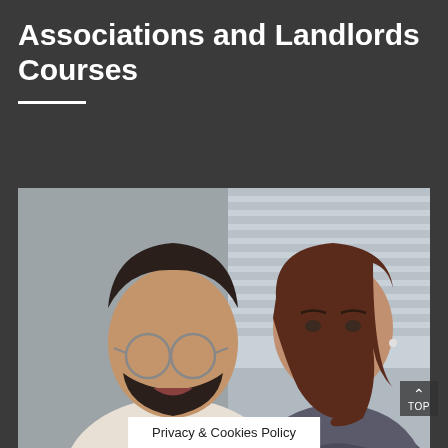Associations and Landlords Courses
[Figure (photo): Two young adults, a man with glasses and beard wearing a light t-shirt and a woman with brown hair, looking downward together at something off-screen, in an office or study setting with blurred background.]
Privacy & Cookies Policy
TOP